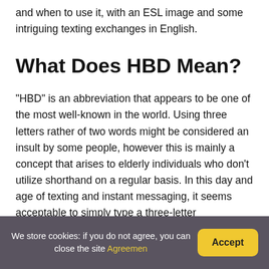and when to use it, with an ESL image and some intriguing texting exchanges in English.
What Does HBD Mean?
“HBD” is an abbreviation that appears to be one of the most well-known in the world. Using three letters rather of two words might be considered an insult by some people, however this is mainly a concept that arises to elderly individuals who don’t utilize shorthand on a regular basis. In this day and age of texting and instant messaging, it seems acceptable to simply type a three-letter abbreviation to wish
We store cookies: if you do not agree, you can close the site Agreemen…  Accept